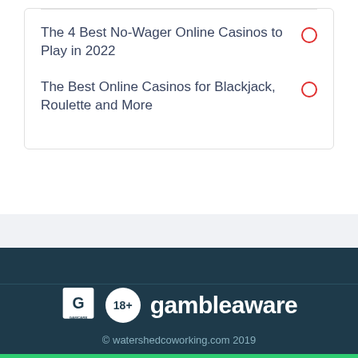The 4 Best No-Wager Online Casinos to Play in 2022
The Best Online Casinos for Blackjack, Roulette and More
[Figure (logo): GamCare logo, 18+ badge, and GambleAware logo on dark teal footer background]
© watershedcoworking.com 2019